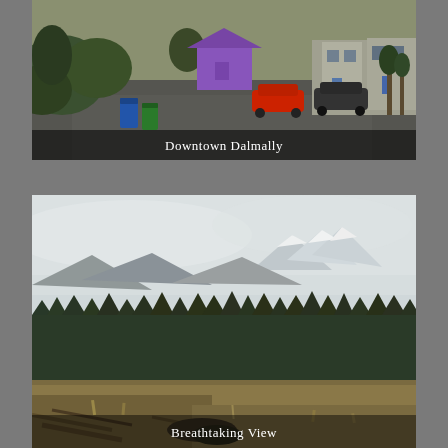[Figure (photo): Street scene of Downtown Dalmally: a paved road/car park with hedges and trees on the left, a blue wheelie bin, green bin, a purple/violet house in the background center, parked cars including a red car and a dark car, and stone buildings on the right. Caption reads 'Downtown Dalmally' in white text at bottom of image.]
[Figure (photo): Landscape photo showing a breathtaking mountain view near Dalmally: overcast grey-white sky with mist over snow-capped mountains in the background, a dense dark green conifer forest in the mid-ground, and rough moorland with dried grasses and debris in the foreground. Caption reads 'Breathtaking View' in white text at bottom of image.]